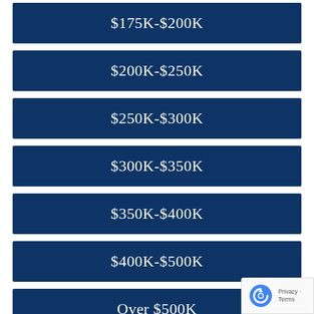$175K-$200K
$200K-$250K
$250K-$300K
$300K-$350K
$350K-$400K
$400K-$500K
Over $500K
From beautiful Bethany Beach south and west, the towns of Bethany, South Bethany, Fenwick Island, Ocean View, Millville, Clarksville,